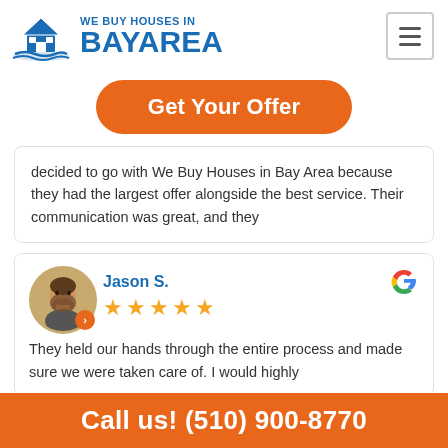[Figure (logo): We Buy Houses in Bay Area logo with house icon]
Get Your Offer
decided to go with We Buy Houses in Bay Area because they had the largest offer alongside the best service. Their communication was great, and they
Jason S. ★★★★★
They held our hands through the entire process and made sure we were taken care of. I would highly
Call us! (510) 900-8770